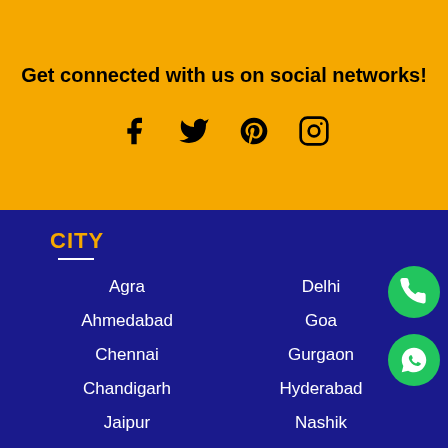Get connected with us on social networks!
[Figure (illustration): Social media icons: Facebook, Twitter, Pinterest, Instagram]
CITY
Agra
Ahmedabad
Chennai
Chandigarh
Jaipur
Kolkata
Lucknow
Delhi
Goa
Gurgaon
Hyderabad
Nashik
Surat